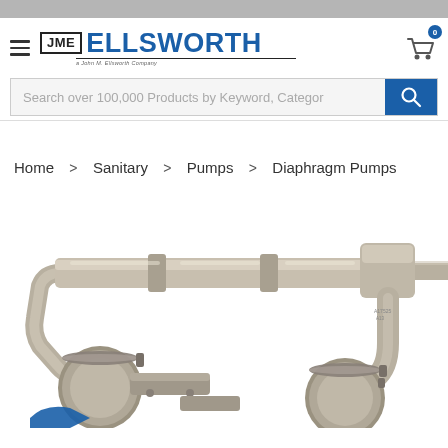[Figure (screenshot): JME Ellsworth website header with hamburger menu, logo, cart icon, and search bar]
Home > Sanitary > Pumps > Diaphragm Pumps
[Figure (photo): Close-up photo of a stainless steel sanitary diaphragm pump with tri-clamp fittings and horizontal bar manifold]